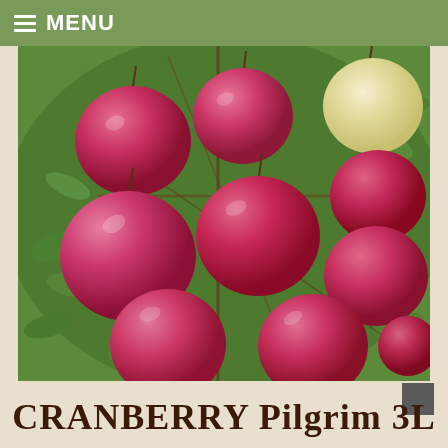MENU
[Figure (photo): Close-up photo of multiple large red/pink cranberry fruits (Pilgrim variety) clustered on a plant with green leaves and brown branches. One unripe pale yellow/white berry is visible in the upper right. Background is blurred green foliage.]
CRANBERRY Pilgrim 3L